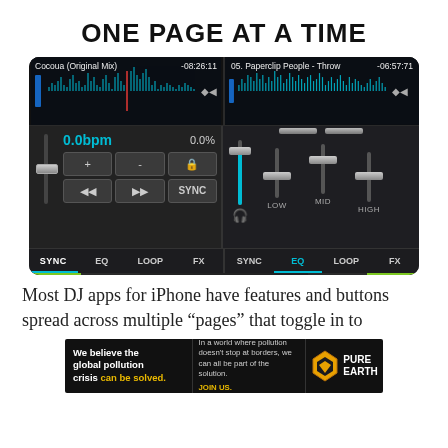ONE PAGE AT A TIME
[Figure (screenshot): DJ app interface screenshot showing two tracks (Cocoua Original Mix at -08:26:11 and 05. Paperclip People - Throw at -06:57:71) with waveforms, BPM display showing 0.0bpm and 0.0%, mixer controls, EQ sliders (LOW, MID, HIGH), SYNC/EQ/LOOP/FX tabs, crossfader, CUE and play buttons]
Most DJ apps for iPhone have features and buttons spread across multiple “pages” that toggle in to
[Figure (infographic): Pure Earth advertisement banner: 'We believe the global pollution crisis can be solved.' with text 'In a world where pollution doesn’t stop at borders, we can all be part of the solution. JOIN US.' and Pure Earth logo]